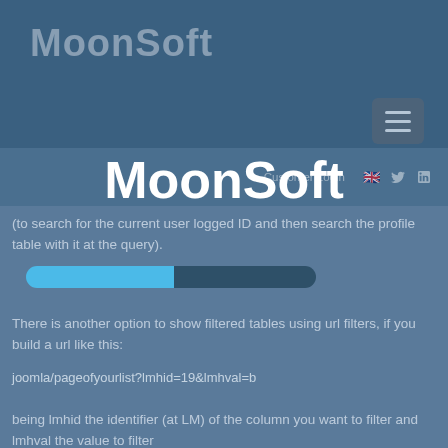MoonSoft
[Figure (logo): MoonSoft watermark logo overlay in white handwritten style font]
(to search for the current user logged ID and then search the profile table with it at the query).
There is another option to show filtered tables using url filters, if you build a url like this:
joomla/pageofyourlist?lmhid=19&lmhval=b
being lmhid the identifier (at LM) of the column you want to filter and lmhval the value to filter